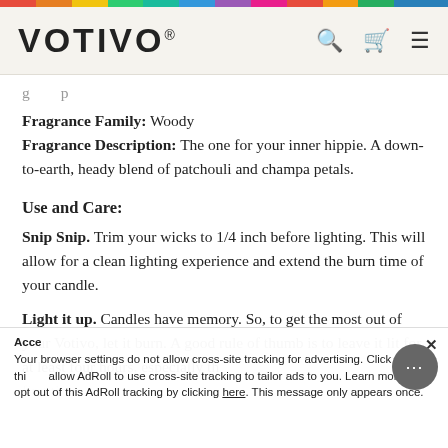VOTIVO®
Fragrance Family: Woody
Fragrance Description: The one for your inner hippie. A down-to-earth, heady blend of patchouli and champa petals.
Use and Care:
Snip Snip. Trim your wicks to 1/4 inch before lighting. This will allow for a clean lighting experience and extend the burn time of your candle.
Light it up. Candles have memory. So, to get the most out of your Votivo, let it burn. A good rule of thumb is to leave it lit for at least four hours, especially the first time.
Your browser settings do not allow cross-site tracking for advertising. Click on this to allow AdRoll to use cross-site tracking to tailor ads to you. Learn more or opt out of this AdRoll tracking by clicking here. This message only appears once.